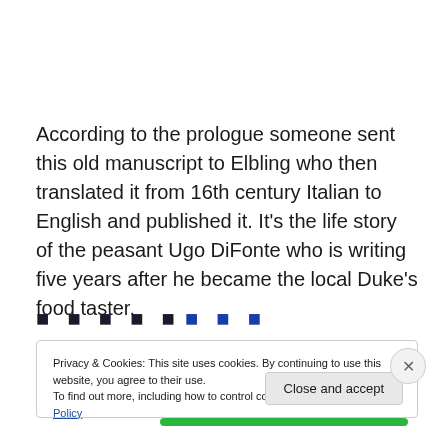According to the prologue someone sent this old manuscript to Elbling who then translated it from 16th century Italian to English and published it. It's the life story of the peasant Ugo DiFonte who is writing five years after he became the local Duke's food taster.
Privacy & Cookies: This site uses cookies. By continuing to use this website, you agree to their use. To find out more, including how to control cookies, see here: Cookie Policy
Close and accept